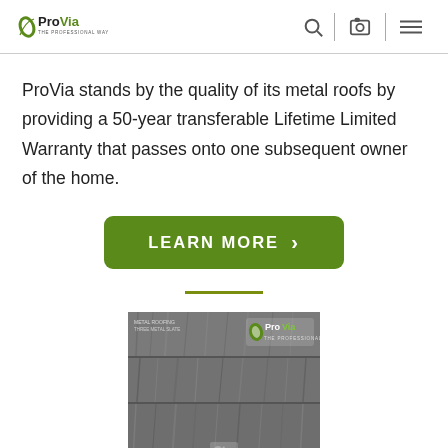ProVia - The Professional Way
ProVia stands by the quality of its metal roofs by providing a 50-year transferable Lifetime Limited Warranty that passes onto one subsequent owner of the home.
[Figure (other): Green rounded rectangle button with white bold text 'LEARN MORE' and a right-pointing chevron arrow]
[Figure (photo): ProVia metal roofing brochure cover showing dark gray wood-textured metal roof panels with ProVia logo in the top right corner]